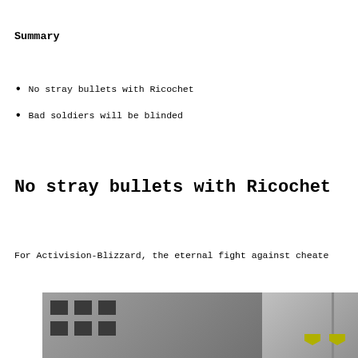Summary
No stray bullets with Ricochet
Bad soldiers will be blinded
No stray bullets with Ricochet
For Activision-Blizzard, the eternal fight against cheate
[Figure (photo): Street scene with soldiers and building in background, utility pole with signs on right side]